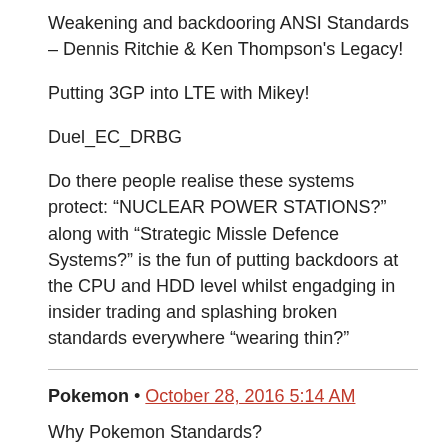Weakening and backdooring ANSI Standards – Dennis Ritchie & Ken Thompson's Legacy!
Putting 3GP into LTE with Mikey!
Duel_EC_DRBG
Do there people realise these systems protect: “NUCLEAR POWER STATIONS?” along with “Strategic Missle Defence Systems?” is the fun of putting backdoors at the CPU and HDD level whilst engadging in insider trading and splashing broken standards everywhere “wearing thin?”
Pokemon • October 28, 2016 5:14 AM
Why Pokemon Standards?
Pokedex as of X & Y – Richard Stallman = Jiggly Puff!
No per-process name spaces in BSD or Linux – Bash programmed in ALGOL described by maintainers as POISON
Fortran, Java & C++ everywhere with deep-dynamic linking